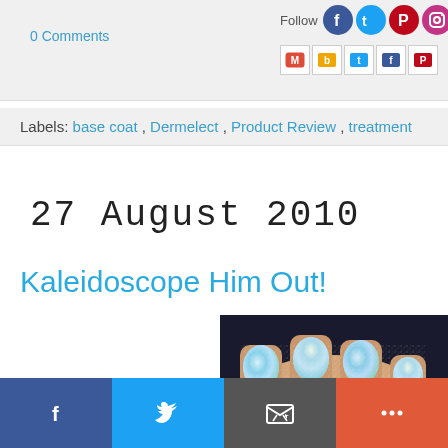0 Comments | Follow [social icons]
Labels: base coat , Dermelect , Product Review , treatment
27 August 2010
Kaleidoscope Him Out!
[Figure (photo): Close-up photo of fingers with holographic/glitter blue-silver nail polish, watermarked with 'polish']
Facebook | Twitter | Email | More share buttons